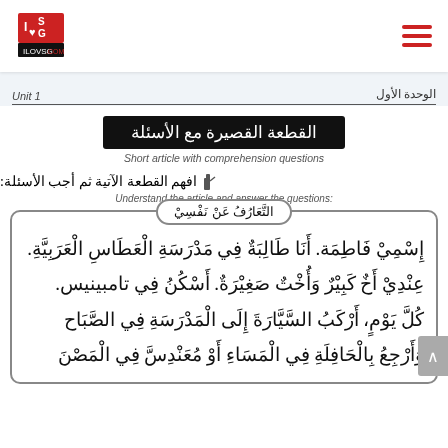ILOVSG.COM logo and navigation menu
الوحدة الأول    Unit 1
القطعة القصيرة مع الأسئلة
Short article with comprehension questions
افهم القطعة الآتية ثم أجب الأسئلة:
Understand the article and answer the questions:
التَّعَارُفُ عَنْ نَفْسِيْ
إِسْمِيْ فَاطِمَة. أَنَا طَالِبَةٌ فِي مَدْرَسَةِ الْعَطَاسِ الْعَرَبِيَّة.
عِنْدِيْ أَخٌ كَبِيْرٌ وَأُخْتٌ صَغِيْرَةٌ. أَسْكُنُ فِي تامبينيس.
كُلَّ يَوْمٍ، أَرْكَبُ السَّيَّارَةَ إِلَى الْمَدْرَسَةِ فِي الصَّبَاح
وَأَرْجِعُ بِالْحَافِلَةِ فِي الْمَسَاءِ أَوْ مُعَنْدِسَّ فِي الْمَصْنَع